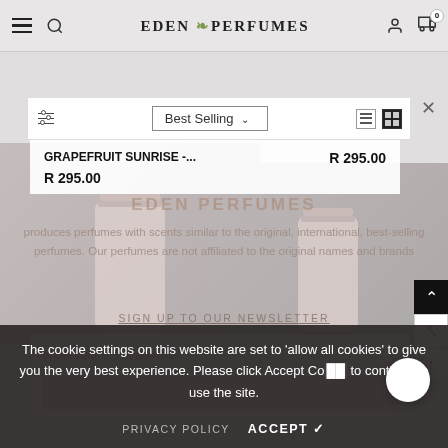EDEN PERFUMES
Best Selling
GRAPEFRUIT SUNRISE -...
R 295.00
R 295.00
EDEN PERFUMES
produces perfumes with scents similar to the original, international, best-selling perfumes. Our perfumes are not affiliated to the original names and brands
SIGN UP TO OUR NEWSLETTER
enter your email address
SUBMIT
The cookie settings on this website are set to 'allow all cookies' to give you the very best experience. Please click Accept Co... to continue to use the site.
PRIVACY POLICY
ACCEPT ✓